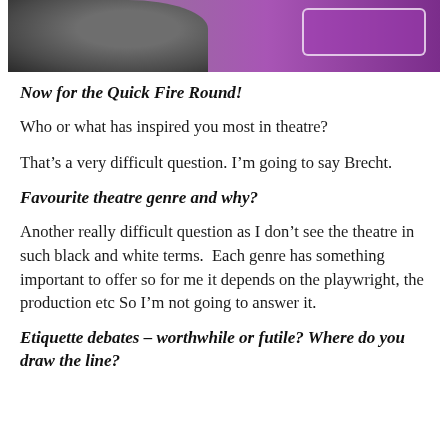[Figure (photo): Banner image with a bird/pigeon on a purple background with a badge outline on the right side]
Now for the Quick Fire Round!
Who or what has inspired you most in theatre?
That’s a very difficult question. I’m going to say Brecht.
Favourite theatre genre and why?
Another really difficult question as I don’t see the theatre in such black and white terms.  Each genre has something important to offer so for me it depends on the playwright, the production etc So I’m not going to answer it.
Etiquette debates – worthwhile or futile? Where do you draw the line?